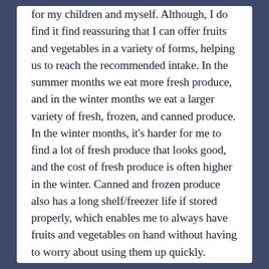for my children and myself. Although, I do find it find reassuring that I can offer fruits and vegetables in a variety of forms, helping us to reach the recommended intake. In the summer months we eat more fresh produce, and in the winter months we eat a larger variety of fresh, frozen, and canned produce. In the winter months, it's harder for me to find a lot of fresh produce that looks good, and the cost of fresh produce is often higher in the winter. Canned and frozen produce also has a long shelf/freezer life if stored properly, which enables me to always have fruits and vegetables on hand without having to worry about using them up quickly.